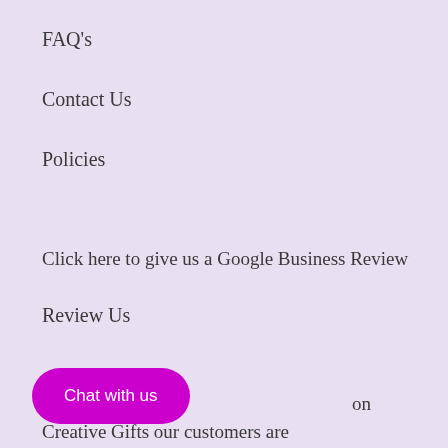FAQ's
Contact Us
Policies
Click here to give us a Google Business Review
Review Us
Chat with us
on Creative Gifts our customers are our top priority. We work hard and diligently at providing the best hand selected products for your